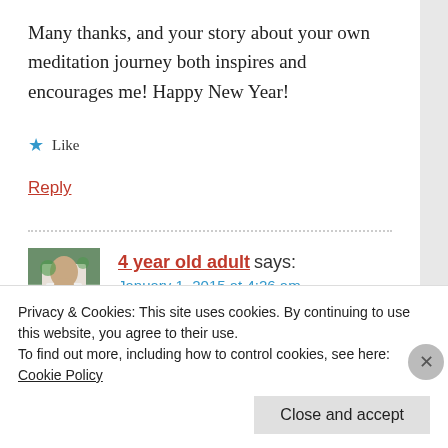Many thanks, and your story about your own meditation journey both inspires and encourages me! Happy New Year!
★ Like
Reply
4 year old adult says:
January 1, 2015 at 4:26 am
Privacy & Cookies: This site uses cookies. By continuing to use this website, you agree to their use.
To find out more, including how to control cookies, see here: Cookie Policy
Close and accept